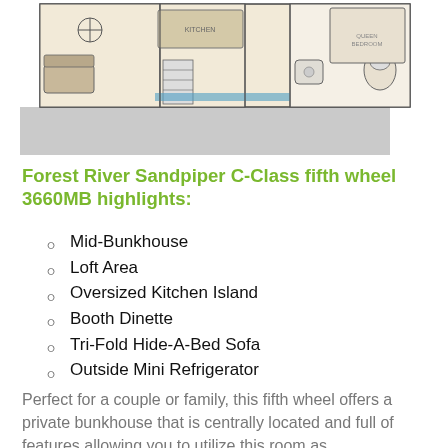[Figure (engineering-diagram): RV fifth wheel floor plan schematic showing room layout with bunkhouse, kitchen island, loft, dinette, and bathroom areas. Below the floor plan is a gray bar placeholder area.]
Forest River Sandpiper C-Class fifth wheel 3660MB highlights:
Mid-Bunkhouse
Loft Area
Oversized Kitchen Island
Booth Dinette
Tri-Fold Hide-A-Bed Sofa
Outside Mini Refrigerator
Perfect for a couple or family, this fifth wheel offers a private bunkhouse that is centrally located and full of features allowing you to utilize this room as